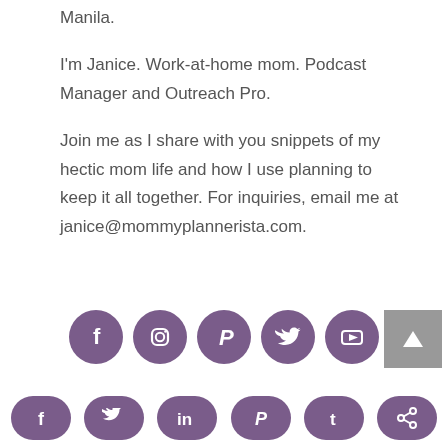Manila.
I'm Janice. Work-at-home mom. Podcast Manager and Outreach Pro.
Join me as I share with you snippets of my hectic mom life and how I use planning to keep it all together. For inquiries, email me at janice@mommyplannerista.com.
[Figure (infographic): Five purple circle social media icons: Facebook, Instagram, Pinterest, Twitter, YouTube. A grey back-to-top arrow button at the right.]
[Figure (infographic): Share bar at the bottom with six purple pill-shaped icons: Facebook, Twitter, LinkedIn, Pinterest, Tumblr, Share.]